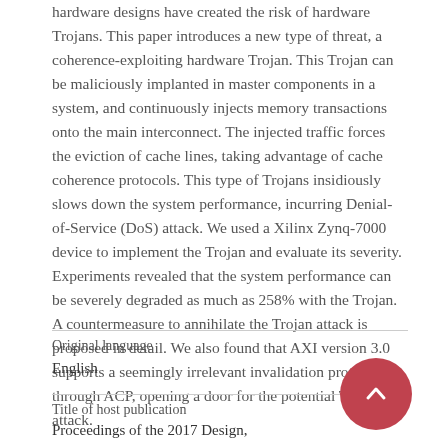hardware designs have created the risk of hardware Trojans. This paper introduces a new type of threat, a coherence-exploiting hardware Trojan. This Trojan can be maliciously implanted in master components in a system, and continuously injects memory transactions onto the main interconnect. The injected traffic forces the eviction of cache lines, taking advantage of cache coherence protocols. This type of Trojans insidiously slows down the system performance, incurring Denial-of-Service (DoS) attack. We used a Xilinx Zynq-7000 device to implement the Trojan and evaluate its severity. Experiments revealed that the system performance can be severely degraded as much as 258% with the Trojan. A countermeasure to annihilate the Trojan attack is proposed in detail. We also found that AXI version 3.0 supports a seemingly irrelevant invalidation protocol through ACP, opening a door for the potential Trojan attack.
Original language
English
Title of host publication
Proceedings of the 2017 Design,